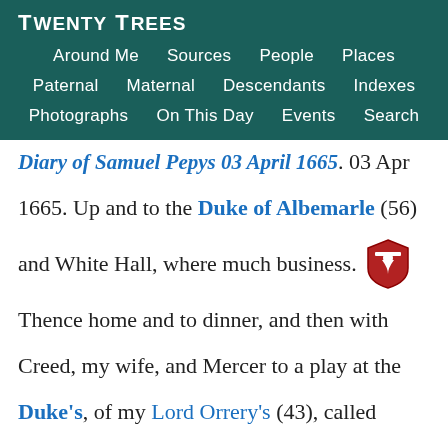Twenty Trees
Around Me  Sources  People  Places
Paternal  Maternal  Descendants  Indexes
Photographs  On This Day  Events  Search
Diary of Samuel Pepys 03 April 1665. 03 Apr 1665. Up and to the Duke of Albemarle (56) and White Hall, where much business. Thence home and to dinner, and then with Creed, my wife, and Mercer to a play at the Duke's, of my Lord Orrery's (43), called "Mustapha", which being not good, made